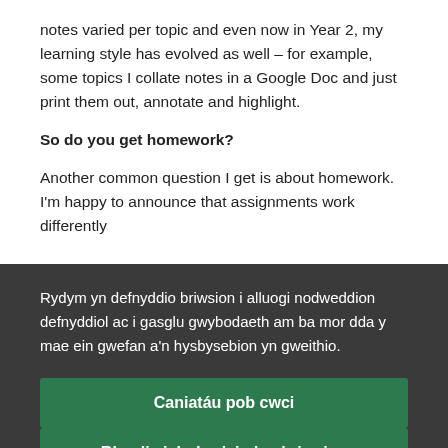notes varied per topic and even now in Year 2, my learning style has evolved as well – for example, some topics I collate notes in a Google Doc and just print them out, annotate and highlight.
So do you get homework?
Another common question I get is about homework. I'm happy to announce that assignments work differently
Rydym yn defnyddio briwsion i alluogi nodweddion defnyddiol ac i gasglu gwybodaeth am ba mor dda y mae ein gwefan a'n hysbysebion yn gweithio.
Caniatáu pob cwci
Rheoli eich dewisiadau briwsion